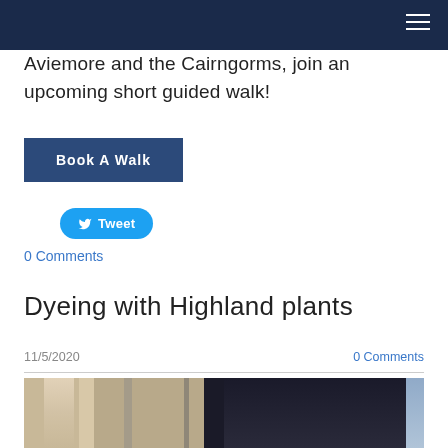Aviemore and the Cairngorms, join an upcoming short guided walk!
Book A Walk
Tweet
0 Comments
Dyeing with Highland plants
11/5/2020
0 Comments
[Figure (photo): Photograph related to dyeing with Highland plants, showing an interior scene with warm tones and dark background]